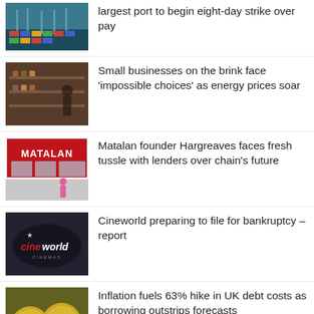[Figure (photo): Aerial view of a large shipping port with containers]
largest port to begin eight-day strike over pay
[Figure (photo): Interior of a small business/shop with shelves]
Small businesses on the brink face 'impossible choices' as energy prices soar
[Figure (photo): Matalan store front with red signage and a person in pink walking by]
Matalan founder Hargreaves faces fresh tussle with lenders over chain's future
[Figure (photo): Cineworld Cinemas sign/logo on dark background]
Cineworld preparing to file for bankruptcy – report
[Figure (photo): Gold coins with pound sterling symbol]
Inflation fuels 63% hike in UK debt costs as borrowing outstrips forecasts
[Figure (photo): Partial image, article cut off at bottom of page]
Partial headline cut off at bottom